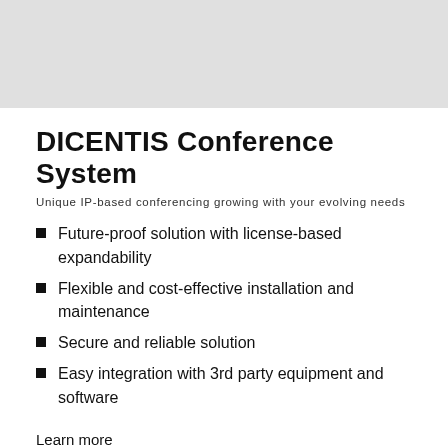[Figure (photo): Grey placeholder image at the top of the page]
DICENTIS Conference System
Unique IP-based conferencing growing with your evolving needs
Future-proof solution with license-based expandability
Flexible and cost-effective installation and maintenance
Secure and reliable solution
Easy integration with 3rd party equipment and software
Learn more